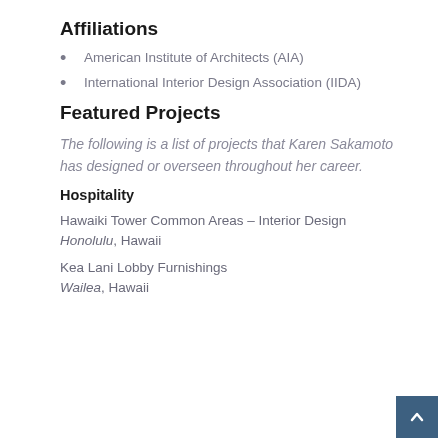Affiliations
American Institute of Architects (AIA)
International Interior Design Association (IIDA)
Featured Projects
The following is a list of projects that Karen Sakamoto has designed or overseen throughout her career.
Hospitality
Hawaiki Tower Common Areas – Interior Design
Honolulu, Hawaii
Kea Lani Lobby Furnishings
Wailea, Hawaii